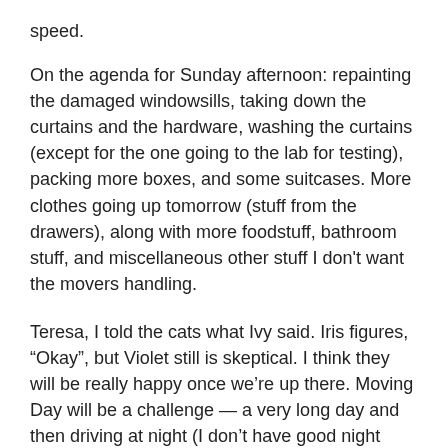speed.
On the agenda for Sunday afternoon: repainting the damaged windowsills, taking down the curtains and the hardware, washing the curtains (except for the one going to the lab for testing), packing more boxes, and some suitcases. More clothes going up tomorrow (stuff from the drawers), along with more foodstuff, bathroom stuff, and miscellaneous other stuff I don't want the movers handling.
Teresa, I told the cats what Ivy said. Iris figures, “Okay”, but Violet still is skeptical. I think they will be really happy once we’re up there. Moving Day will be a challenge — a very long day and then driving at night (I don’t have good night vision and hate driving at night) when I’m already exhausted, but once we’re there, and once the movers have come and gone the next day, all will be good.